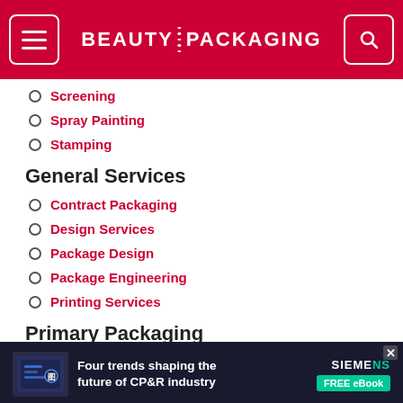BEAUTY PACKAGING
Screening
Spray Painting
Stamping
General Services
Contract Packaging
Design Services
Package Design
Package Engineering
Printing Services
Primary Packaging
[Figure (screenshot): Advertisement banner: Four trends shaping the future of CP&R industry – Siemens FREE eBook]